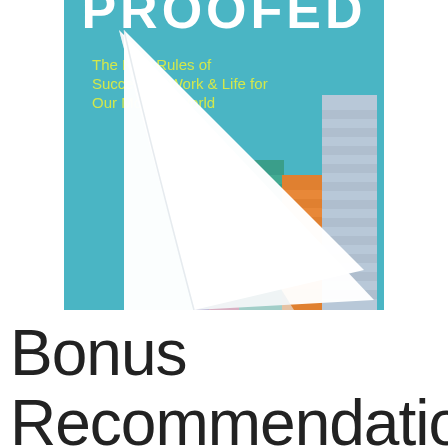[Figure (illustration): Book cover of 'PROOFED: The New Rules of Success in Work & Life for Our Modern World'. Teal/blue background with white curling page revealing colorful cityscape illustration underneath. Title text partially visible at top (PROOFED). Subtitle in yellow-green text reads: The New Rules of Success in Work & Life for Our Modern World.]
Bonus Recommendatio